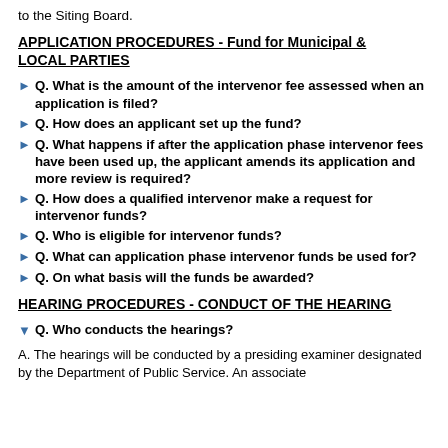to the Siting Board.
APPLICATION PROCEDURES - Fund for Municipal & LOCAL PARTIES
Q. What is the amount of the intervenor fee assessed when an application is filed?
Q. How does an applicant set up the fund?
Q. What happens if after the application phase intervenor fees have been used up, the applicant amends its application and more review is required?
Q. How does a qualified intervenor make a request for intervenor funds?
Q. Who is eligible for intervenor funds?
Q. What can application phase intervenor funds be used for?
Q. On what basis will the funds be awarded?
HEARING PROCEDURES - CONDUCT OF THE HEARING
Q. Who conducts the hearings?
A. The hearings will be conducted by a presiding examiner designated by the Department of Public Service. An associate